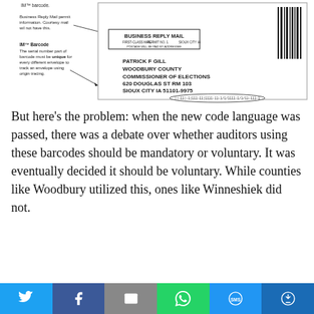[Figure (illustration): Business Reply Mail envelope diagram showing IM barcode label, Business Reply Mail permit information label pointing to a sample envelope addressed to Patrick F Gill, Woodbury County Commissioner of Elections, 620 Douglas St RM 103, Sioux City IA 51101-9975, with a barcode at top right and IM barcode oval at bottom.]
But here’s the problem: when the new code language was passed, there was a debate over whether auditors using these barcodes should be mandatory or voluntary. It was eventually decided it should be voluntary. While counties like Woodbury utilized this, ones like Winneshiek did not.
That’s where the current impasse comes from. There is a